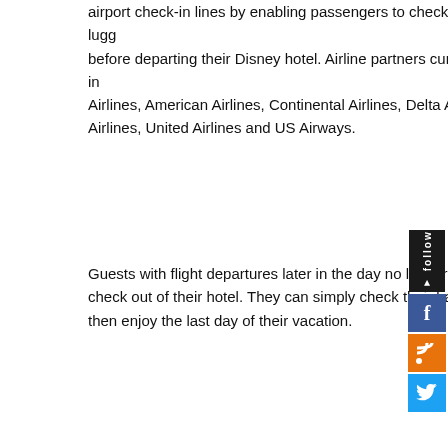airport check-in lines by enabling passengers to check their luggage before departing their Disney hotel. Airline partners currently include Airlines, American Airlines, Continental Airlines, Delta Air Lines, Airlines, United Airlines and US Airways.
Guests with flight departures later in the day no longer have to check out of their hotel. They can simply check their bags and then enjoy the last day of their vacation.
[Figure (photo): Photo of Mickey Mouse character in tuxedo posing with stacked vintage luggage suitcases in front of a building with large windows.]